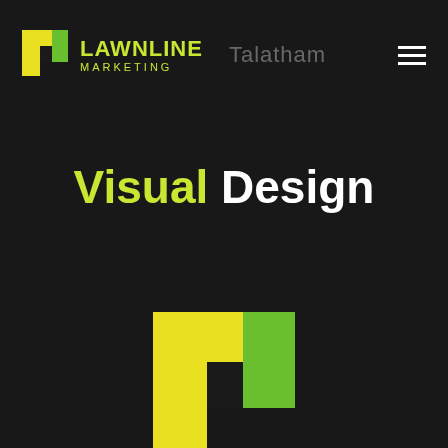[Figure (logo): Lawnline Marketing logo with green/yellow L-shaped icon and text 'LAWNLINE MARKETING' in yellow-green, with 'Talatham' navigation text and hamburger menu in the header]
Visual Design
[Figure (logo): Large Lawnline Marketing L-shaped icon logo in yellow and green centered in lower portion of page]